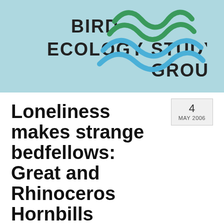[Figure (logo): Bird Ecology Study Group logo with green and blue wave/hill shapes and text BIRD ECOLOGY STUDY GROUP on light blue background]
Loneliness makes strange bedfellows: Great and Rhinoceros Hornbills
4 MAY 2006
by BESG | posted in: Courtship-Mating, Hornbills | 7
[Figure (photo): Photograph of hornbill birds perched on green leafy branches, with orange/red coloring visible at the bottom right]